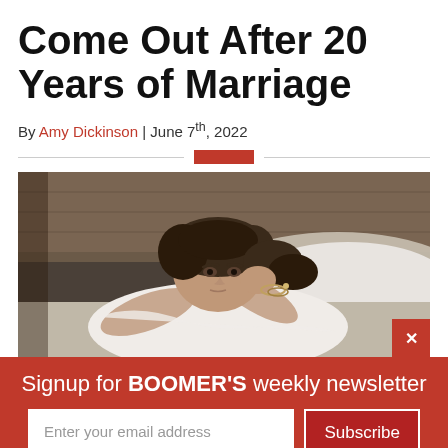Come Out After 20 Years of Marriage
By Amy Dickinson | June 7th, 2022
[Figure (photo): Woman with dark curly hair lying on a bed, resting her head on her hand, looking distressed or worried, wearing a white top and bracelet, with pillows and wooden headboard in background]
Signup for BOOMER'S weekly newsletter
Enter your email address
Subscribe